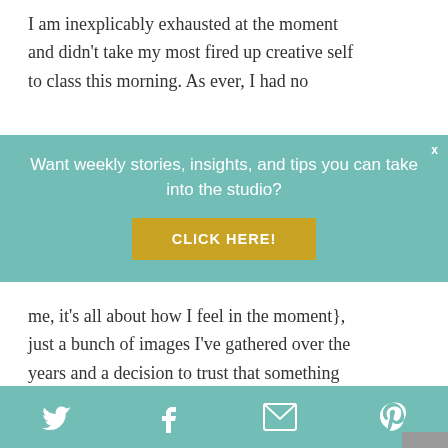I am inexplicably exhausted at the moment and didn't take my most fired up creative self to class this morning. As ever, I had no
Want weekly stories, insights, and tips you can take into the studio?
CLICK HERE!
me, it's all about how I feel in the moment}, just a bunch of images I've gathered over the years and a decision to trust that something would emerge.
[Figure (photo): Close-up photo of a sketchbook with colorful drawings, possibly botanical or fashion sketches, with a striped fabric in the background.]
This website uses cookies to improve your experience. By continuing to use this site, you agree to our use of
Twitter  Facebook  Email  Pinterest